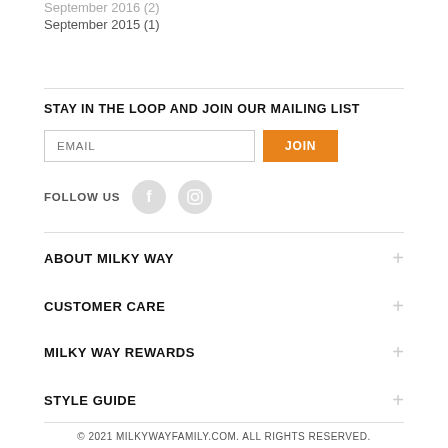September 2016 (2)
September 2015 (1)
STAY IN THE LOOP AND JOIN OUR MAILING LIST
EMAIL  JOIN
FOLLOW US
ABOUT MILKY WAY
CUSTOMER CARE
MILKY WAY REWARDS
STYLE GUIDE
© 2021 MILKYWAYFAMILY.COM. ALL RIGHTS RESERVED.